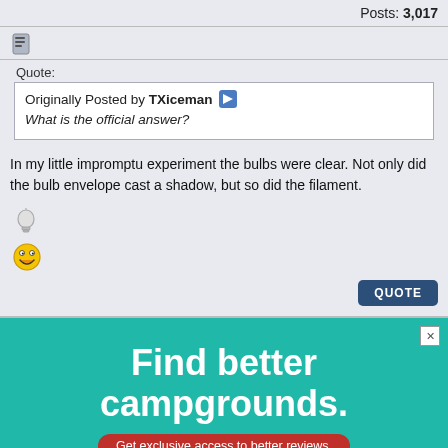Posts: 3,017
[Figure (illustration): Document/note icon]
Quote:
Originally Posted by TXiceman
What is the official answer?
In my little impromptu experiment the bulbs were clear. Not only did the bulb envelope cast a shadow, but so did the filament.
[Figure (illustration): Light bulb icon and laughing emoji/smiley face]
QUOTE
[Figure (illustration): Advertisement: Find better campgrounds. Get exclusive access to better reviews.]